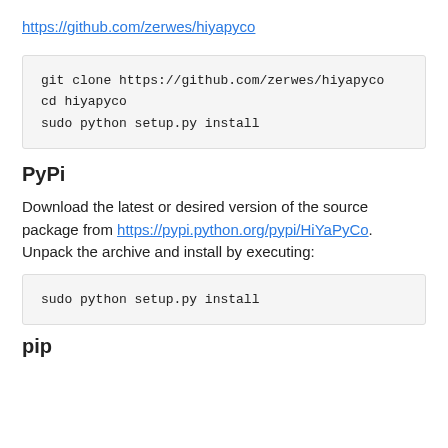https://github.com/zerwes/hiyapyco
git clone https://github.com/zerwes/hiyapyco
cd hiyapyco
sudo python setup.py install
PyPi
Download the latest or desired version of the source package from https://pypi.python.org/pypi/HiYaPyCo. Unpack the archive and install by executing:
sudo python setup.py install
pip